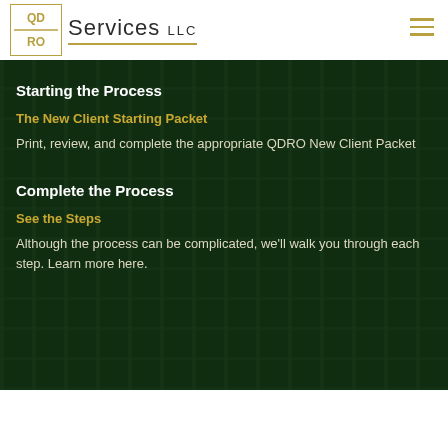QDRO Services LLC
Starting the Process
The New Client Starting Packet
Print, review, and complete the appropriate QDRO New Client Packet
Complete the Process
See the Steps
Although the process can be complicated, we'll walk you through each step. Learn more here.